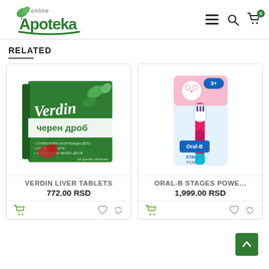Apoteka online
RELATED
[Figure (photo): Verdin liver tablets product box - green box with Cyrillic text]
VERDIN LIVER TABLETS
772.00 RSD
[Figure (photo): Oral-B Stages Power children's electric toothbrush in packaging]
ORAL-B STAGES POWE...
1,999.00 RSD